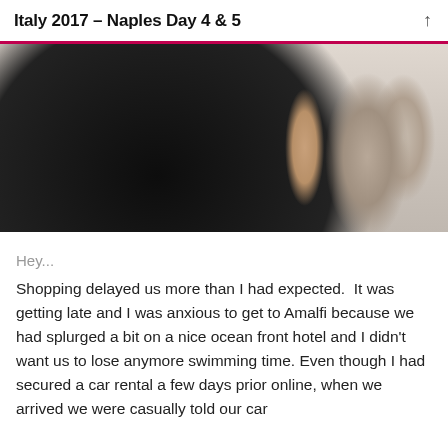Italy 2017 – Naples Day 4 & 5
[Figure (photo): Person wearing a black sleeveless button-up shirt leaning against a stone fountain or sculpture outdoors]
Hey...
Shopping delayed us more than I had expected.  It was getting late and I was anxious to get to Amalfi because we had splurged a bit on a nice ocean front hotel and I didn't want us to lose anymore swimming time. Even though I had secured a car rental a few days prior online, when we arrived we were casually told our car